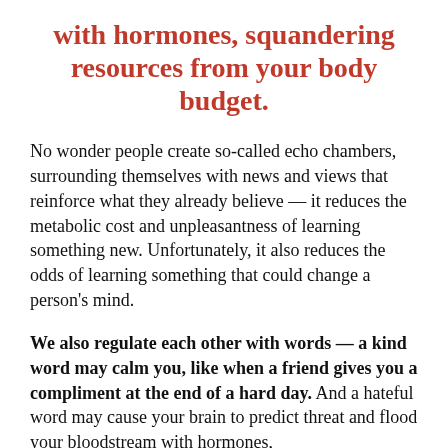with hormones, squandering resources from your body budget.
No wonder people create so-called echo chambers, surrounding themselves with news and views that reinforce what they already believe — it reduces the metabolic cost and unpleasantness of learning something new. Unfortunately, it also reduces the odds of learning something that could change a person's mind.
We also regulate each other with words — a kind word may calm you, like when a friend gives you a compliment at the end of a hard day. And a hateful word may cause your brain to predict threat and flood your bloodstream with hormones,